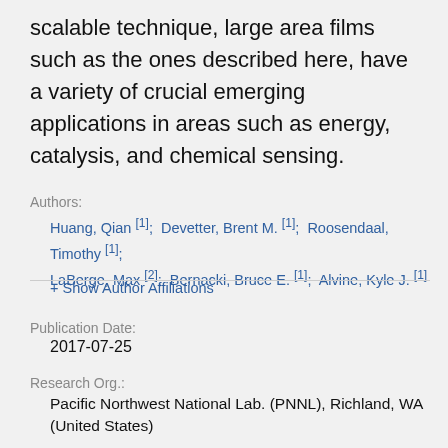scalable technique, large area films such as the ones described here, have a variety of crucial emerging applications in areas such as energy, catalysis, and chemical sensing.
Authors: Huang, Qian [1]; Devetter, Brent M. [1]; Roosendaal, Timothy [1]; LaBerge, Max [2]; Bernacki, Bruce E. [1]; Alvine, Kyle J. [1]
+ Show Author Affiliations
Publication Date: 2017-07-25
Research Org.: Pacific Northwest National Lab. (PNNL), Richland, WA (United States)
Sponsoring Org.: USDOE